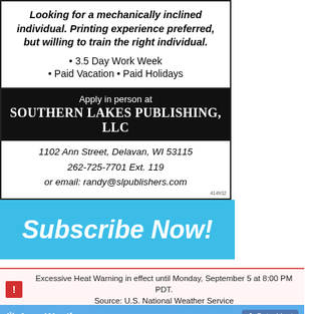Looking for a mechanically inclined individual. Printing experience preferred, but willing to train the right individual.
• 3.5 Day Work Week
• Paid Vacation • Paid Holidays
Apply in person at
SOUTHERN LAKES PUBLISHING, LLC
1102 Ann Street, Delavan, WI 53115
262-725-7701 Ext. 119
or email: randy@slpublishers.com
[Figure (infographic): Blue banner reading 'Subscribe Now!' in large white italic bold text]
Excessive Heat Warning in effect until Monday, September 5 at 8:00 PM PDT. Source: U.S. National Weather Service
[Figure (screenshot): AccuWeather.com widget header with logo, Get widget button, San Diego CA search bar, and °F/°C toggle]